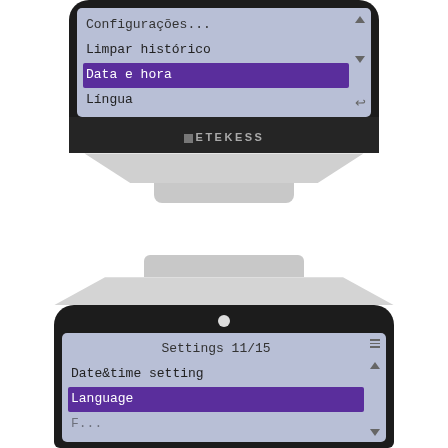[Figure (photo): Top device (Retekess pager/receiver) showing a Portuguese-language menu on an LCD screen. Menu items visible: 'Configurações...' (partially visible at top), 'Limpar histórico', 'Data e hora' (highlighted/selected in purple), 'Língua'. Navigation arrows on right side of screen. RETEKESS brand label on device body.]
[Figure (photo): Bottom device (Retekess pager/receiver) showing an English-language settings menu on an LCD screen. Header reads 'Settings 11/15'. Menu items visible: 'Date&time setting', 'Language' (highlighted/selected in purple), and a partially visible item below. Navigation arrows and hamburger icon on right side of screen. Small circular button above screen.]